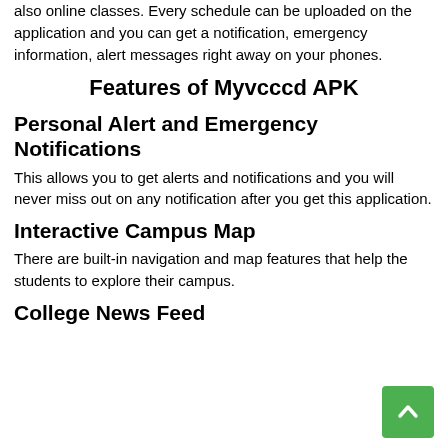also online classes. Every schedule can be uploaded on the application and you can get a notification, emergency information, alert messages right away on your phones.
Features of Myvcccd APK
Personal Alert and Emergency Notifications
This allows you to get alerts and notifications and you will never miss out on any notification after you get this application.
Interactive Campus Map
There are built-in navigation and map features that help the students to explore their campus.
College News Feed